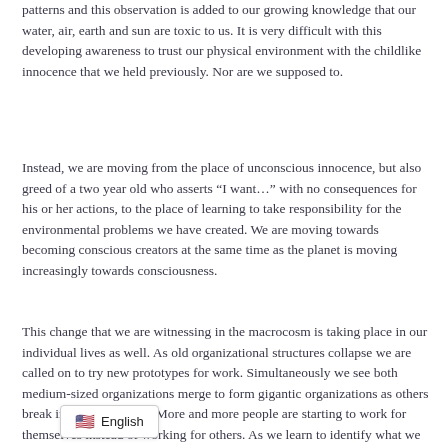patterns and this observation is added to our growing knowledge that our water, air, earth and sun are toxic to us. It is very difficult with this developing awareness to trust our physical environment with the childlike innocence that we held previously. Nor are we supposed to.
Instead, we are moving from the place of unconscious innocence, but also greed of a two year old who asserts “I want…” with no consequences for his or her actions, to the place of learning to take responsibility for the environmental problems we have created. We are moving towards becoming conscious creators at the same time as the planet is moving increasingly towards consciousness.
This change that we are witnessing in the macrocosm is taking place in our individual lives as well. As old organizational structures collapse we are called on to try new prototypes for work. Simultaneously we see both medium-sized organizations merge to form gigantic organizations as others break into smaller units. More and more people are starting to work for themselves instead of working for others. As we learn to identify what we want to do for a liveli… rt also to explore how we could work with like-min…